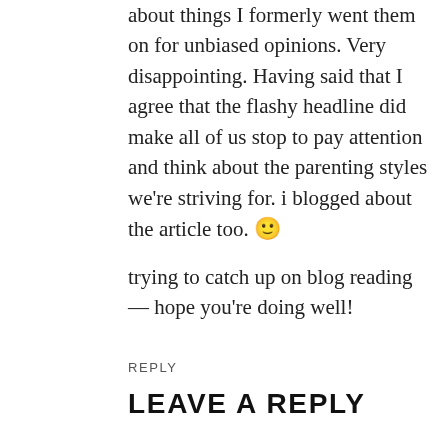about things I formerly went them on for unbiased opinions. Very disappointing. Having said that I agree that the flashy headline did make all of us stop to pay attention and think about the parenting styles we're striving for. i blogged about the article too. 🙂
trying to catch up on blog reading — hope you're doing well!
REPLY
LEAVE A REPLY
Your email address will not be published. Required fields are marked *